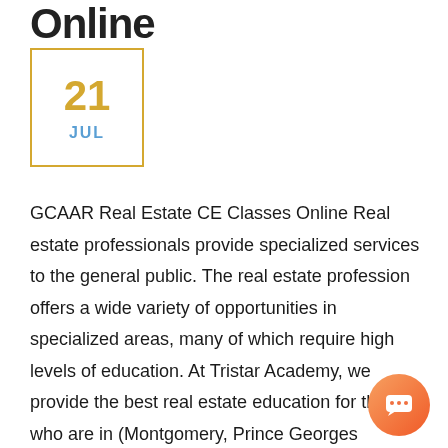Online
[Figure (other): Calendar icon showing day 21 and month JUL in a gold/yellow bordered box]
GCAAR Real Estate CE Classes Online Real estate professionals provide specialized services to the general public. The real estate profession offers a wide variety of opportunities in specialized areas, many of which require high levels of education. At Tristar Academy, we provide the best real estate education for those who are in (Montgomery, Prince Georges County, and Washington DC) and belong to the Capital Area Association of REALTORS (GCAAR).  GCAAR